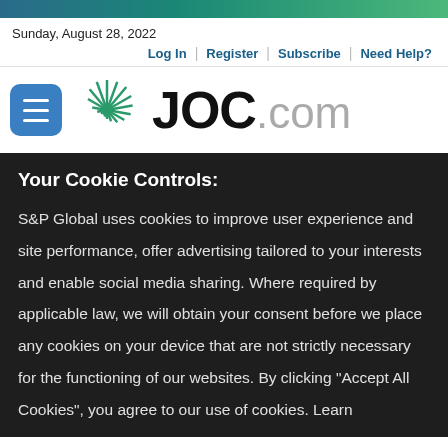Sunday, August 28, 2022
Log In | Register | Subscribe | Need Help?
[Figure (logo): JOC.com logo with green spiral graphic and hamburger menu button]
Your Cookie Controls:
S&P Global uses cookies to improve user experience and site performance, offer advertising tailored to your interests and enable social media sharing. Where required by applicable law, we will obtain your consent before we place any cookies on your device that are not strictly necessary for the functioning of our websites. By clicking "Accept All Cookies", you agree to our use of cookies. Learn